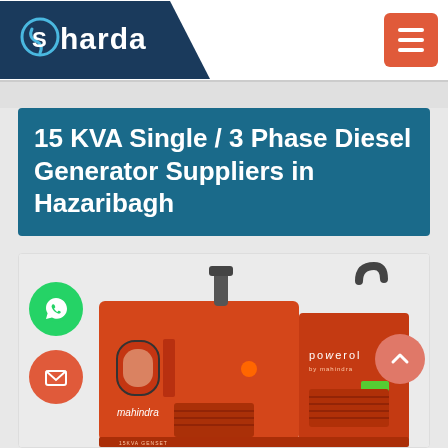Sharda
15 KVA Single / 3 Phase Diesel Generator Suppliers in Hazaribagh
[Figure (photo): Orange Mahindra Powerol 15 KVA diesel generator set on white background, with WhatsApp and email floating action buttons on the left and a scroll-up button on the right]